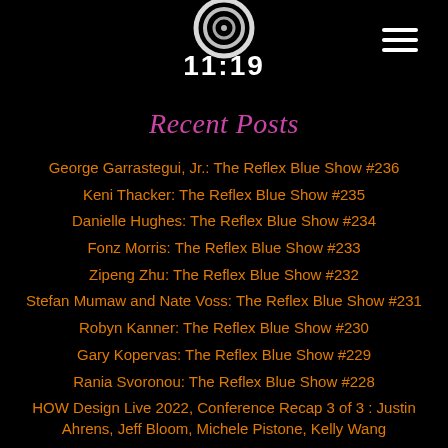[Figure (logo): Circular swirl logo with '11:19' text below in white on black background]
Recent Posts
George Garrastegui, Jr.: The Reflex Blue Show #236
Keni Thacker: The Reflex Blue Show #235
Danielle Hughes: The Reflex Blue Show #234
Fonz Morris: The Reflex Blue Show #233
Zipeng Zhu: The Reflex Blue Show #232
Stefan Mumaw and Nate Voss: The Reflex Blue Show #231
Robyn Kanner: The Reflex Blue Show #230
Gary Kopervas: The Reflex Blue Show #229
Rania Svoronou: The Reflex Blue Show #228
HOW Design Live 2022, Conference Recap 3 of 3 : Justin Ahrens, Jeff Bloom, Michele Pistone, Kelly Wang